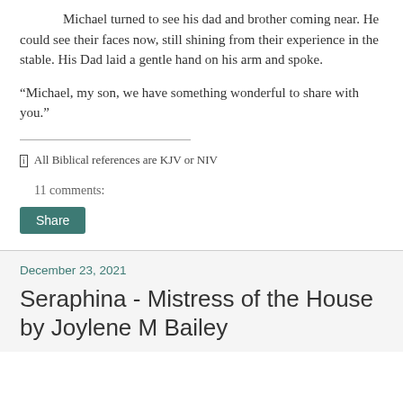Michael turned to see his dad and brother coming near. He could see their faces now, still shining from their experience in the stable. His Dad laid a gentle hand on his arm and spoke.
“Michael, my son, we have something wonderful to share with you.”
[i] All Biblical references are KJV or NIV
11 comments:
Share
December 23, 2021
Seraphina - Mistress of the House by Joylene M Bailey